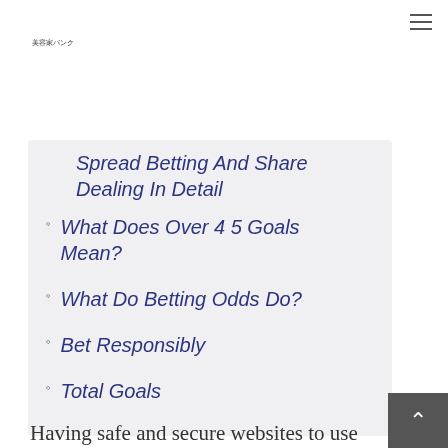≡
美容家バンク
Spread Betting And Share Dealing In Detail
What Does Over 4 5 Goals Mean?
What Do Betting Odds Do?
Bet Responsibly
Total Goals
Having safe and secure websites to use